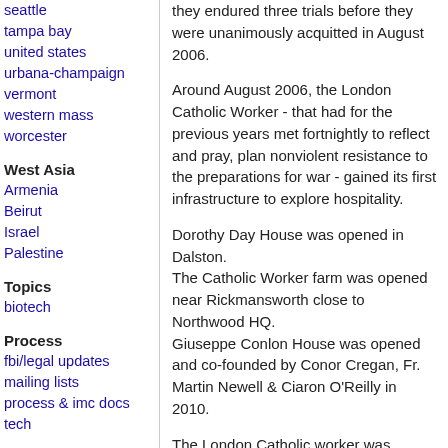seattle
tampa bay
united states
urbana-champaign
vermont
western mass
worcester
West Asia
Armenia
Beirut
Israel
Palestine
Topics
biotech
Process
fbi/legal updates
mailing lists
process & imc docs
tech
they endured three trials before they were unanimously acquitted in August 2006.
Around August 2006, the London Catholic Worker - that had for the previous years met fortnightly to reflect and pray, plan nonviolent resistance to the preparations for war - gained its first infrastructure to explore hospitality.
Dorothy Day House was opened in Dalston.
The Catholic Worker farm was opened near Rickmansworth close to Northwood HQ.
Giuseppe Conlon House was opened and co-founded by Conor Cregan, Fr. Martin Newell & Ciaron O'Reilly in 2010.
The London Catholic worker was preceded by the Oxford Catholic Worker in the early 1990s. It was a community that Susan Clarkson joined on her return from the United